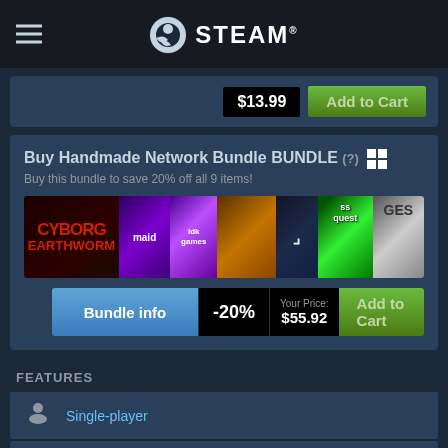STEAM®
$13.99  Add to Cart
Buy Handmade Network Bundle BUNDLE (?) Buy this bundle to save 20% off all 9 items!
[Figure (screenshot): Game thumbnails: Cyborg Earthworm, maid, idk games, (game), (game), ss quest, GES, and more]
Bundle info  -20%  Your Price: $55.92  Add to Cart
FEATURES
Single-player
Steam Achievements